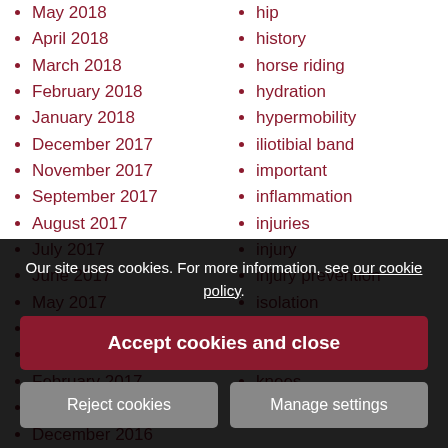May 2018
April 2018
March 2018
February 2018
January 2018
December 2017
November 2017
September 2017
August 2017
July 2017
June 2017
May 2017
April 2017
March 2017
February 2017
January 2017
December 2016
November 2016
August 2016
July 2016
hip
history
horse riding
hydration
hypermobility
iliotibial band
important
inflammation
injuries
injury
injury prevention
isolation
IT band
kinesiology tape
knees
L-protocol
Our site uses cookies. For more information, see our cookie policy.
Accept cookies and close
Reject cookies
Manage settings